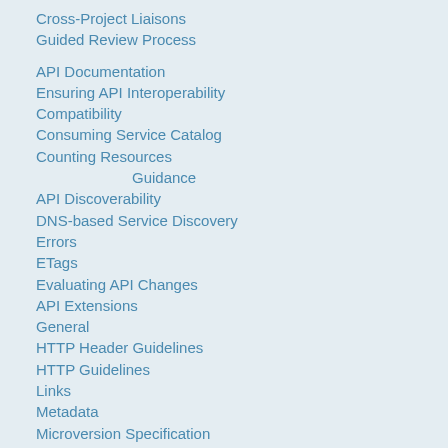Cross-Project Liaisons
Guided Review Process
API Documentation
Ensuring API Interoperability
Compatibility
Consuming Service Catalog
Counting Resources
Guidance
API Discoverability
DNS-based Service Discovery
Errors
ETags
Evaluating API Changes
API Extensions
General
HTTP Header Guidelines
HTTP Guidelines
Links
Metadata
Microversion Specification
Naming Conventions
Pagination, Filtering, and Sorting